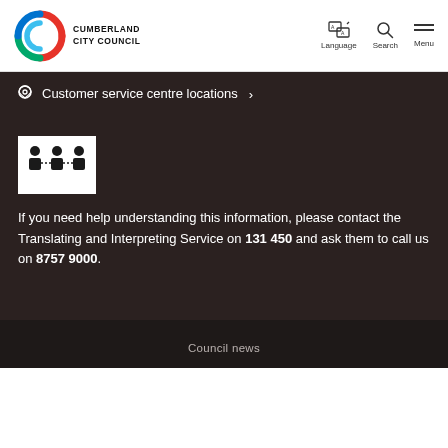Cumberland City Council — Logo, Language, Search, Menu
Customer service centre locations >
[Figure (illustration): Three person silhouettes with dotted lines between them, indicating interpreting/translating service icon, white on black background]
If you need help understanding this information, please contact the Translating and Interpreting Service on 131 450 and ask them to call us on 8757 9000.
Council news